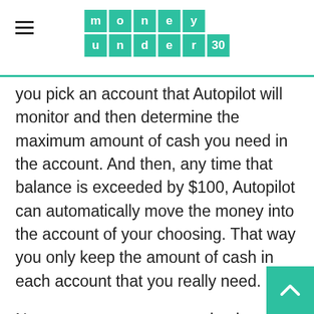money under 30
you pick an account that Autopilot will monitor and then determine the maximum amount of cash you need in the account. And then, any time that balance is exceeded by $100, Autopilot can automatically move the money into the account of your choosing. That way you only keep the amount of cash in each account that you really need.
Now you can get your paychecks up to two days early when you arrange for a direct deposit into your Wealthfront Cash Account. This is very useful because Autopilot instantly monitors your account for investment opportunities.